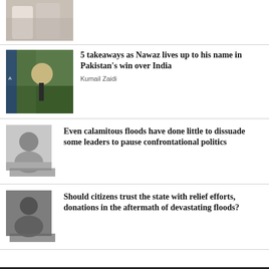[Figure (photo): Partial photo at top, people visible, cropped]
[Figure (photo): Cricket player batting, Pakistan green jersey]
5 takeaways as Nawaz lives up to his name in Pakistan's win over India
Kumail Zaidi
[Figure (photo): Portrait of a smiling woman, grayscale]
Even calamitous floods have done little to dissuade some leaders to pause confrontational politics
[Figure (photo): Portrait of a bearded man, black and white]
Should citizens trust the state with relief efforts, donations in the aftermath of devastating floods?